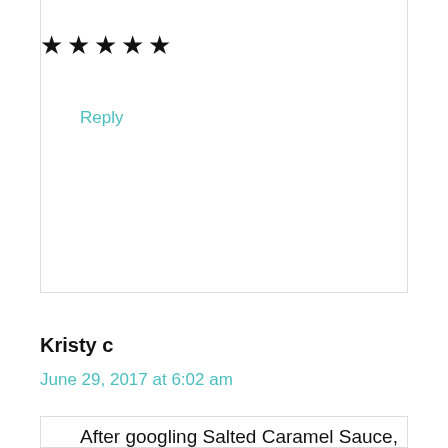★★★★★
Reply
Kristy c
June 29, 2017 at 6:02 am
After googling Salted Caramel Sauce, I came upon your post. This is just what I needed; thank you for sharing this amazing recipe! It's on the menu to try this